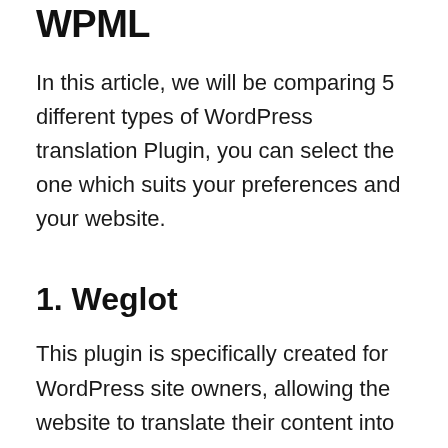WPML
In this article, we will be comparing 5 different types of WordPress translation Plugin, you can select the one which suits your preferences and your website.
1. Weglot
This plugin is specifically created for WordPress site owners, allowing the website to translate their content into different languages without any hassle.
It's one of the best alternatives to WPML and